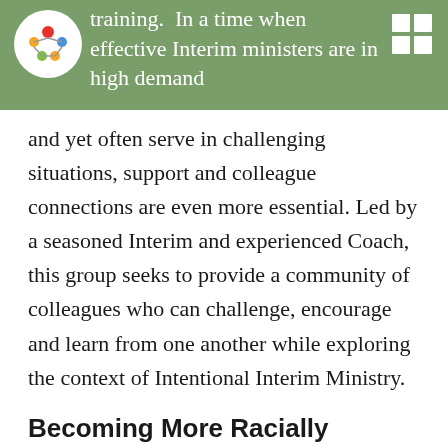training. In a time when effective Interim ministers are in high demand
and yet often serve in challenging situations, support and colleague connections are even more essential. Led by a seasoned Interim and experienced Coach, this group seeks to provide a community of colleagues who can challenge, encourage and learn from one another while exploring the context of Intentional Interim Ministry.
Becoming More Racially